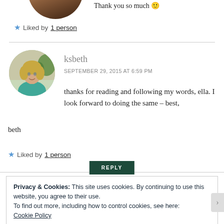[Figure (photo): Partial circular avatar of a person, cropped at top of page]
Thank you so much 🙂
★ Liked by 1 person
[Figure (photo): Circular avatar photo of ksbeth, a woman with blonde hair wearing teal top, outdoors]
ksbeth
SEPTEMBER 29, 2015 AT 6:59 PM
thanks for reading and following my words, ella. I look forward to doing the same – best, beth
★ Liked by 1 person
REPLY
Privacy & Cookies: This site uses cookies. By continuing to use this website, you agree to their use.
To find out more, including how to control cookies, see here: Cookie Policy
Close and accept